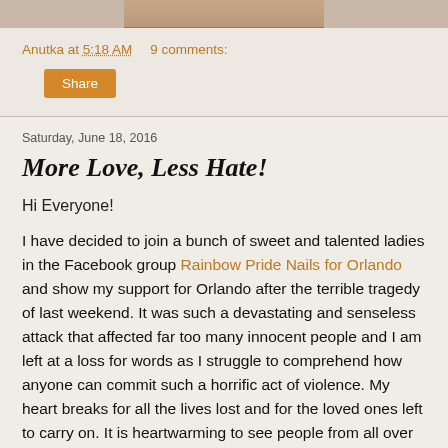[Figure (photo): Cropped photo banner at top of blog post]
Anutka at 5:18 AM   9 comments:
Share
Saturday, June 18, 2016
More Love, Less Hate!
Hi Everyone!
I have decided to join a bunch of sweet and talented ladies in the Facebook group Rainbow Pride Nails for Orlando and show my support for Orlando after the terrible tragedy of last weekend. It was such a devastating and senseless attack that affected far too many innocent people and I am left at a loss for words as I struggle to comprehend how anyone can commit such a horrific act of violence. My heart breaks for all the lives lost and for the loved ones left to carry on. It is heartwarming to see people from all over the world join in support and I'm glad to show my support today as